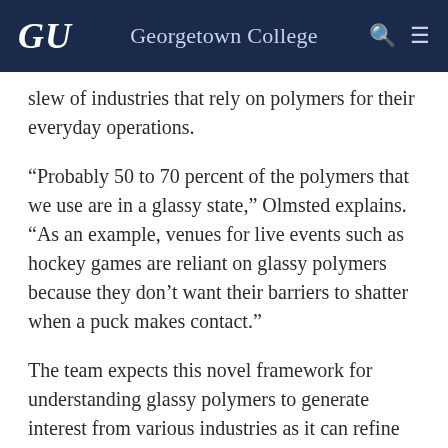GU  Georgetown College
slew of industries that rely on polymers for their everyday operations.
“Probably 50 to 70 percent of the polymers that we use are in a glassy state,” Olmsted explains. “As an example, venues for live events such as hockey games are reliant on glassy polymers because they don’t want their barriers to shatter when a puck makes contact.”
The team expects this novel framework for understanding glassy polymers to generate interest from various industries as it can refine and improve processes for creating durable substances with glassy properties.